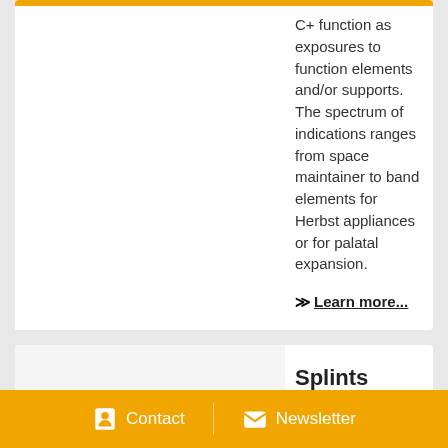C+ function as exposures to function elements and/or supports. The spectrum of indications ranges from space maintainer to band elements for Herbst appliances or for palatal expansion.
Learn more...
[Figure (photo): Dental appliance or splint component photo (partial, cropped at bottom)]
Splints
The di...
Contact | Newsletter